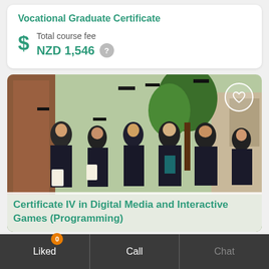Vocational Graduate Certificate
Total course fee
NZD 1,546
[Figure (photo): Group of graduates in academic robes celebrating outdoors, tossing graduation caps in the air]
Certificate IV in Digital Media and Interactive Games (Programming)
Liked 0   Call   Chat